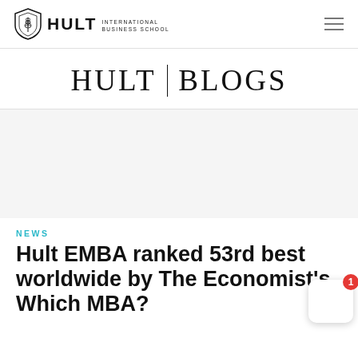HULT INTERNATIONAL BUSINESS SCHOOL
HULT | BLOGS
[Figure (photo): Blank/placeholder image area for blog article hero image]
NEWS
Hult EMBA ranked 53rd best worldwide by The Economist's Which MBA?